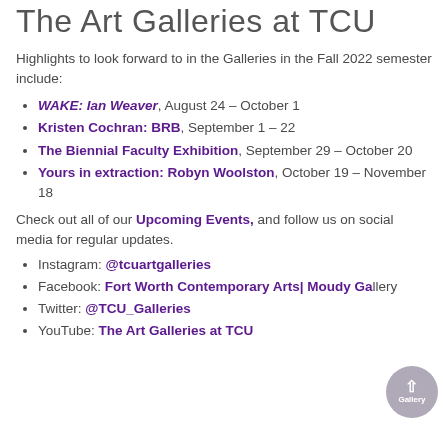The Art Galleries at TCU
Highlights to look forward to in the Galleries in the Fall 2022 semester include:
WAKE: Ian Weaver, August 24 – October 1
Kristen Cochran: BRB, September 1 – 22
The Biennial Faculty Exhibition, September 29 – October 20
Yours in extraction: Robyn Woolston, October 19 – November 18
Check out all of our Upcoming Events, and follow us on social media for regular updates.
Instagram: @tcuartgalleries
Facebook: Fort Worth Contemporary Arts| Moudy Gallery
Twitter: @TCU_Galleries
YouTube: The Art Galleries at TCU